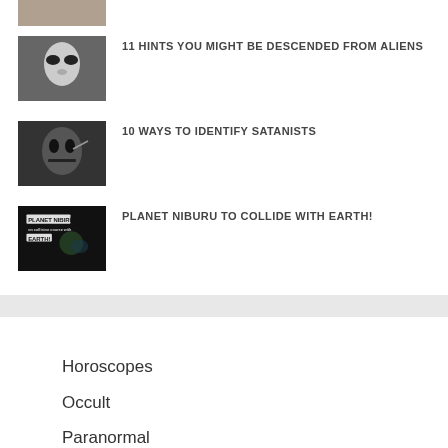[Figure (photo): Partial thumbnail of a person at top of page]
[Figure (photo): Black and white alien-like face with large eyes]
11 HINTS YOU MIGHT BE DESCENDED FROM ALIENS
[Figure (photo): Dark stylized face with finger gesture]
10 WAYS TO IDENTIFY SATANISTS
[Figure (photo): Planet Nibiru collision with Earth graphic, dark background with text PLANET NIBIRU on collision course with EARTH!]
PLANET NIBURU TO COLLIDE WITH EARTH!
Horoscopes
Occult
Paranormal
Aliens